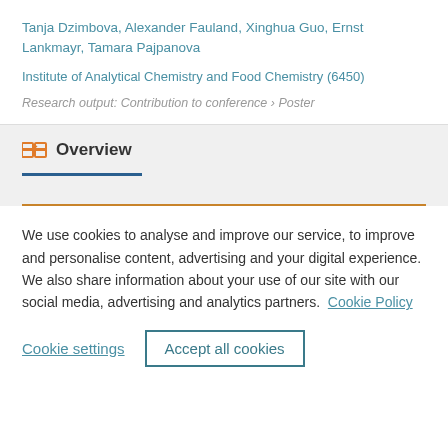Tanja Dzimbova, Alexander Fauland, Xinghua Guo, Ernst Lankmayr, Tamara Pajpanova
Institute of Analytical Chemistry and Food Chemistry (6450)
Research output: Contribution to conference › Poster
Overview
We use cookies to analyse and improve our service, to improve and personalise content, advertising and your digital experience. We also share information about your use of our site with our social media, advertising and analytics partners.  Cookie Policy
Cookie settings
Accept all cookies